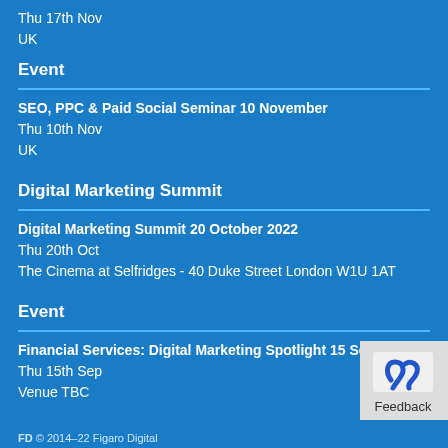Thu 17th Nov
UK
Event
SEO, PPC & Paid Social Seminar 10 November
Thu 10th Nov
UK
Digital Marketing Summit
Digital Marketing Summit 20 October 2022
Thu 20th Oct
The Cinema at Selfridges - 40 Duke Street London W1U 1AT
Event
Financial Services: Digital Marketing Spotlight 15 September
Thu 15th Sep
Venue TBC
FD © 2014–22 Figaro Digital